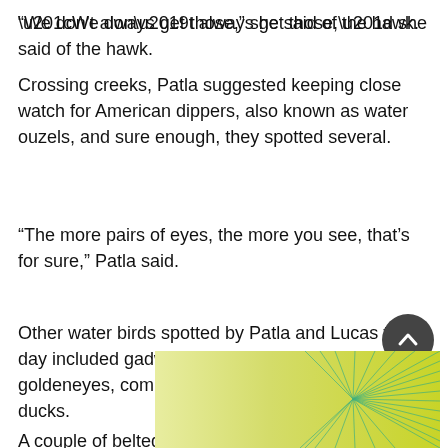“We don’t always get those,” she said of the hawk.
Crossing creeks, Patla suggested keeping close watch for American dippers, also known as water ouzels, and sure enough, they spotted several.
“The more pairs of eyes, the more you see, that’s for sure,” Patla said.
Other water birds spotted by Patla and Lucas that day included gadwalls, buffleheads, Barrow’s goldeneyes, common goldeneyes and ring-necked ducks.
A couple of belted kingfishers made it on the list, too.
[Figure (other): Decorative banner image with yellow-green gradient background and teal geometric line art pattern on the right side]